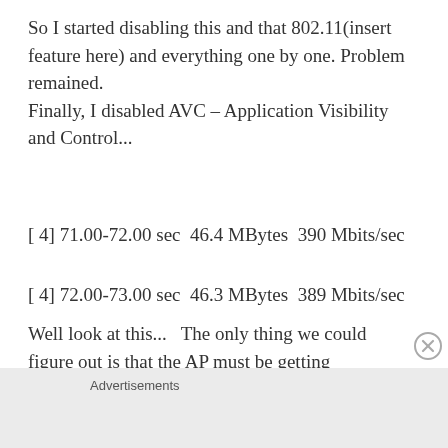So I started disabling this and that 802.11(insert feature here) and everything one by one. Problem remained.
Finally, I disabled AVC – Application Visibility and Control...
[ 4] 71.00-72.00 sec  46.4 MBytes  390 Mbits/sec
[ 4] 72.00-73.00 sec  46.3 MBytes  389 Mbits/sec
Well look at this...   The only thing we could figure out is that the AP must be getting hammered by the AVC...   So, I investigated that....
Advertisements